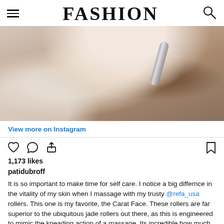FASHION
[Figure (photo): Person wearing a white fluffy robe using a metal facial roller on their neck/chin area, close-up beauty/skincare photo]
View more on Instagram
1,173 likes
patidubroff
It is so important to make time for self care. I notice a big differnce in the vitality of my skin when I massage with my trusty @refa_usa rollers. This one is my favorite, the Carat Face. These rollers are far superior to the ubiquitous jade rollers out there, as this is engineered to mimic the kneading action of a massage. Its incredible how much more alive the